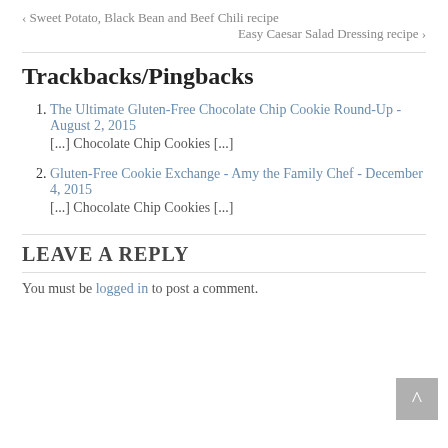‹ Sweet Potato, Black Bean and Beef Chili recipe
Easy Caesar Salad Dressing recipe ›
Trackbacks/Pingbacks
The Ultimate Gluten-Free Chocolate Chip Cookie Round-Up - August 2, 2015
[...] Chocolate Chip Cookies [...]
Gluten-Free Cookie Exchange - Amy the Family Chef - December 4, 2015
[...] Chocolate Chip Cookies [...]
LEAVE A REPLY
You must be logged in to post a comment.